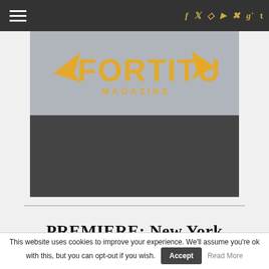Navigation bar with hamburger menu and social icons: f, twitter, instagram, youtube, pinterest, g+, t
[Figure (photo): Hero image showing Fortitude Magazine logo in gold/orange over a photo of an older man with glasses, hands clasped behind head, against a light background. Lower portion shows dark/shadowed detail.]
PREMIERE: New York Pavements
This website uses cookies to improve your experience. We'll assume you're ok with this, but you can opt-out if you wish. Accept Read More